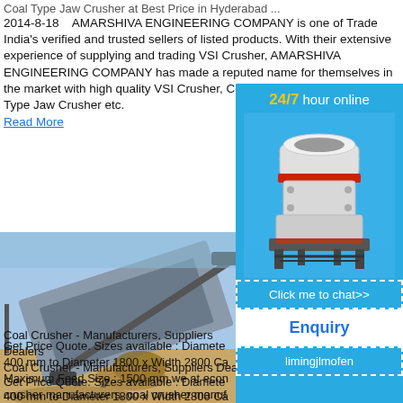Coal Type Jaw Crusher at Best Price in Hyderabad ...
2014-8-18   AMARSHIVA ENGINEERING COMPANY is one of Trade India's verified and trusted sellers of listed products. With their extensive experience of supplying and trading VSI Crusher, AMARSHIVA ENGINEERING COMPANY has made a reputed name for themselves in the market with high quality VSI Crusher, Coal Type Jaw Crusher, Grease Type Jaw Crusher etc.
Read More
[Figure (photo): A coal crusher machine on a construction/mining site with dirt and sky in background]
Coal Crusher - Manufacturers, Suppliers Dealers Get Price Quote. Sizes available : Diameter 400 mm to Diameter 1800 x Width 2800 Ca Maximum Feed Size : 1500 mm we at econ crusher manufacturers, coal crusher manuf l)
[Figure (infographic): Sidebar advertisement with '24/7 hour online', image of industrial cone crusher machine, 'Click me to chat>>' button, 'Enquiry' button, and 'limingjlmofen' text]